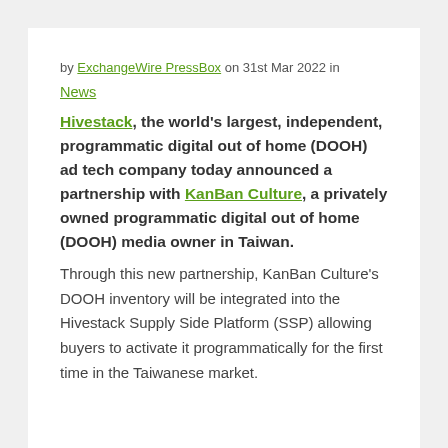by ExchangeWire PressBox on 31st Mar 2022 in
News
Hivestack, the world's largest, independent, programmatic digital out of home (DOOH) ad tech company today announced a partnership with KanBan Culture, a privately owned programmatic digital out of home (DOOH) media owner in Taiwan.
Through this new partnership, KanBan Culture's DOOH inventory will be integrated into the Hivestack Supply Side Platform (SSP) allowing buyers to activate it programmatically for the first time in the Taiwanese market.